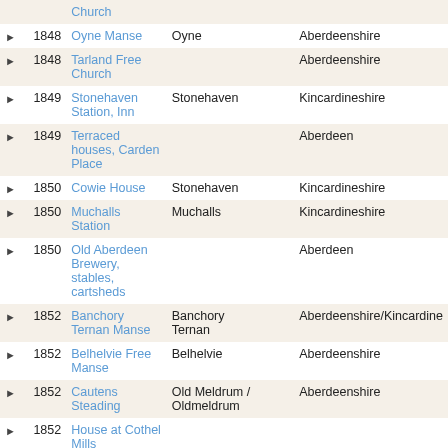|  | Year | Name | Location |  | County |
| --- | --- | --- | --- | --- | --- |
| ▶ | 1848 | Oyne Manse | Oyne |  | Aberdeenshire |
| ▶ | 1848 | Tarland Free Church |  |  | Aberdeenshire |
| ▶ | 1849 | Stonehaven Station, Inn | Stonehaven |  | Kincardineshire |
| ▶ | 1849 | Terraced houses, Carden Place |  |  | Aberdeen |
| ▶ | 1850 | Cowie House | Stonehaven |  | Kincardineshire |
| ▶ | 1850 | Muchalls Station | Muchalls |  | Kincardineshire |
| ▶ | 1850 | Old Aberdeen Brewery, stables, cartsheds |  |  | Aberdeen |
| ▶ | 1852 | Banchory Ternan Manse | Banchory Ternan |  | Aberdeenshire/Kincardine |
| ▶ | 1852 | Belhelvie Free Manse | Belhelvie |  | Aberdeenshire |
| ▶ | 1852 | Cautens Steading | Old Meldrum / Oldmeldrum |  | Aberdeenshire |
| ▶ | 1852 | House at Cothel Mills |  |  |  |